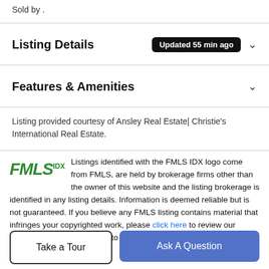Sold by .
Listing Details  Updated 55 min ago
Features & Amenities
Listing provided courtesy of Ansley Real Estate| Christie's International Real Estate.
Listings identified with the FMLS IDX logo come from FMLS, are held by brokerage firms other than the owner of this website and the listing brokerage is identified in any listing details. Information is deemed reliable but is not guaranteed. If you believe any FMLS listing contains material that infringes your copyrighted work, please click here to review our DMCA policy and learn how to submit a takedown request. ©